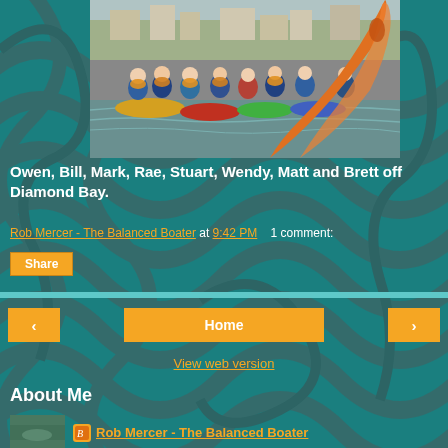[Figure (photo): Group of kayakers on water near coastal cliffs, shot from the bow of a kayak looking forward at the group]
Owen, Bill, Mark, Rae, Stuart, Wendy, Matt and Brett off Diamond Bay.
Rob Mercer - The Balanced Boater at 9:42 PM   1 comment:
Share
Home
View web version
About Me
Rob Mercer - The Balanced Boater